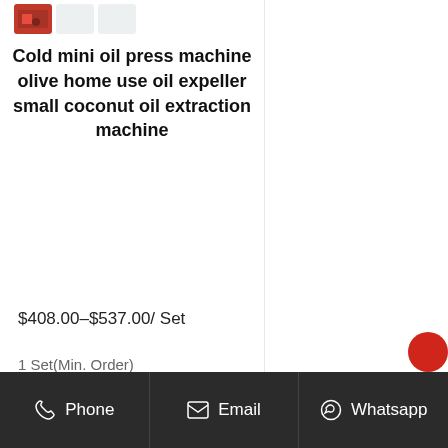[Figure (photo): Product thumbnail images of cold mini oil press machine at top of card]
Cold mini oil press machine olive home use oil expeller small coconut oil extraction machine
$408.00–$537.00/ Set
1 Set(Min. Order)
Get Price
Phone  Email  Whatsapp